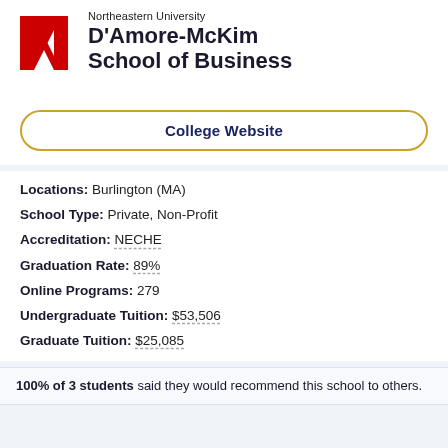[Figure (logo): Northeastern University D'Amore-McKim School of Business logo with large red N and bold school name text]
College Website
Locations: Burlington (MA)
School Type: Private, Non-Profit
Accreditation: NECHE
Graduation Rate: 89%
Online Programs: 279
Undergraduate Tuition: $53,506
Graduate Tuition: $25,085
100% of 3 students said they would recommend this school to others.